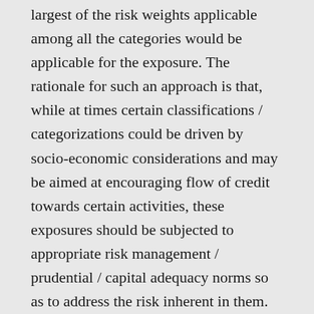largest of the risk weights applicable among all the categories would be applicable for the exposure. The rationale for such an approach is that, while at times certain classifications / categorizations could be driven by socio-economic considerations and may be aimed at encouraging flow of credit towards certain activities, these exposures should be subjected to appropriate risk management / prudential / capital adequacy norms so as to address the risk inherent in them. Similarly, if an exposure has sensitivity to more than one risk factor it should